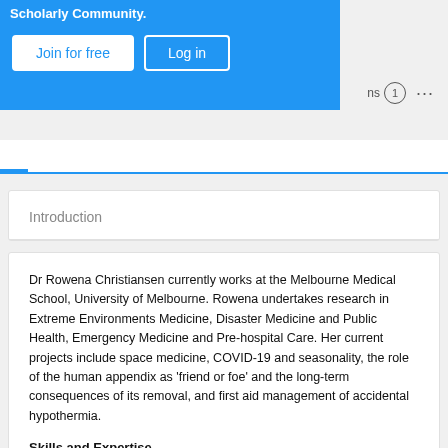[Figure (screenshot): Blue banner with 'Join for free' and 'Log in' buttons, notifications badge and three-dot menu]
Introduction
Dr Rowena Christiansen currently works at the Melbourne Medical School, University of Melbourne. Rowena undertakes research in Extreme Environments Medicine, Disaster Medicine and Public Health, Emergency Medicine and Pre-hospital Care. Her current projects include space medicine, COVID-19 and seasonality, the role of the human appendix as 'friend or foe' and the long-term consequences of its removal, and first aid management of accidental hypothermia.
Skills and Expertise
Resuscitation
Emergency Management
Prehospital Medicine
Cardiopulmonary Resuscitation